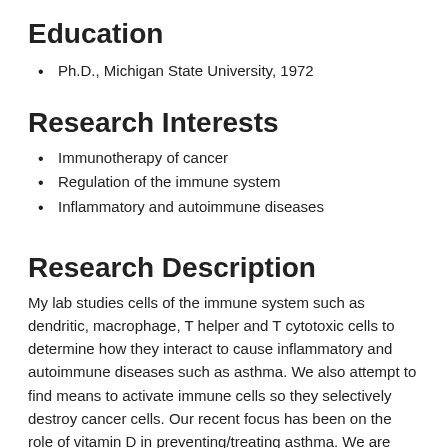Education
Ph.D., Michigan State University, 1972
Research Interests
Immunotherapy of cancer
Regulation of the immune system
Inflammatory and autoimmune diseases
Research Description
My lab studies cells of the immune system such as dendritic, macrophage, T helper and T cytotoxic cells to determine how they interact to cause inflammatory and autoimmune diseases such as asthma. We also attempt to find means to activate immune cells so they selectively destroy cancer cells. Our recent focus has been on the role of vitamin D in preventing/treating asthma. We are currently focusing on